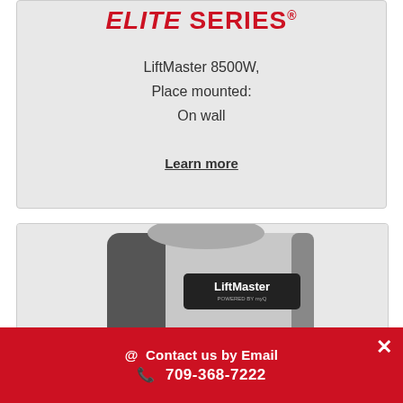ELITE SERIES®
LiftMaster 8500W,
Place mounted:
On wall
Learn more
[Figure (photo): LiftMaster garage door opener unit, wall-mounted silver/black device with LiftMaster branding label, viewed from a perspective angle]
@ Contact us by Email
709-368-7222